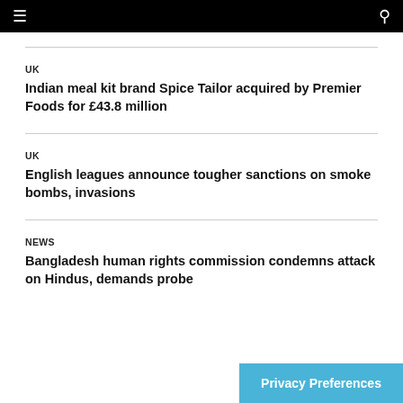≡  🔍
UK
Indian meal kit brand Spice Tailor acquired by Premier Foods for £43.8 million
UK
English leagues announce tougher sanctions on smoke bombs, invasions
NEWS
Bangladesh human rights commission condemns attack on Hindus, demands probe
Privacy Preferences